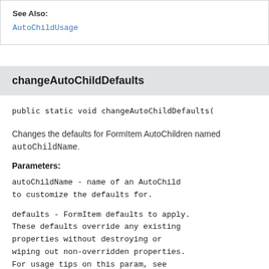See Also:
AutoChildUsage
changeAutoChildDefaults
public static void changeAutoChildDefaults(
Changes the defaults for FormItem AutoChildren named autoChildName.
Parameters:
autoChildName - name of an AutoChild to customize the defaults for.
defaults - FormItem defaults to apply. These defaults override any existing properties without destroying or wiping out non-overridden properties. For usage tips on this param, see